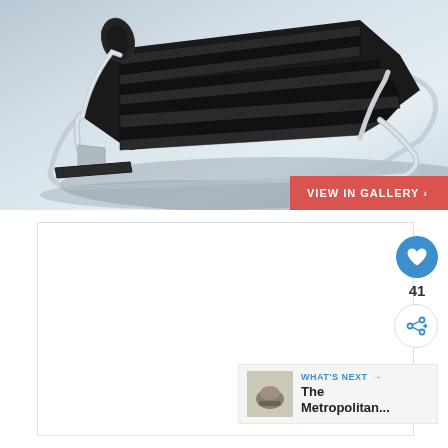[Figure (photo): Black leather and chrome chaise lounge chair (MR Chaise by Mies van der Rohe) photographed against a light gray-blue background, casting a shadow beneath it. The chair has tubular steel frame and segmented black leather cushioning.]
VIEW IN GALLERY ›
41
WHAT'S NEXT → The Metropolitan...